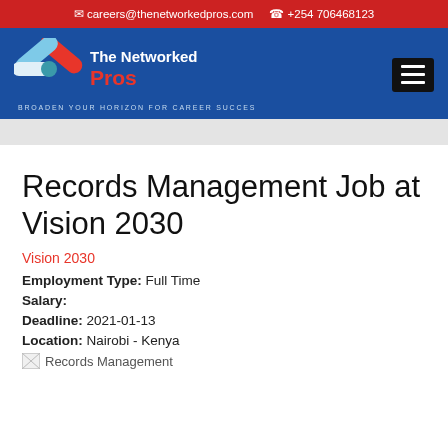careers@thenetworkedpros.com  +254 706468123
[Figure (logo): The Networked Pros logo with X symbol in red and blue, tagline BROADEN YOUR HORIZON FOR CAREER SUCCES]
Records Management Job at Vision 2030
Vision 2030
Employment Type: Full Time
Salary:
Deadline: 2021-01-13
Location: Nairobi - Kenya
[Figure (illustration): Broken image placeholder labeled Records Management]